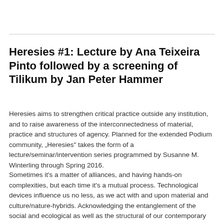Heresies #1: Lecture by Ana Teixeira Pinto followed by a screening of Tilikum by Jan Peter Hammer
Heresies aims to strengthen critical practice outside any institution, and to raise awareness of the interconnectedness of material, practice and structures of agency. Planned for the extended Podium community, „Heresies" takes the form of a lecture/seminar/intervention series programmed by Susanne M. Winterling through Spring 2016.
Sometimes it's a matter of alliances, and having hands-on complexities, but each time it's a mutual process. Technological devices influence us no less, as we act with and upon material and culture/nature-hybrids. Acknowledging the entanglement of the social and ecological as well as the structural of our contemporary condition, is the basis for any